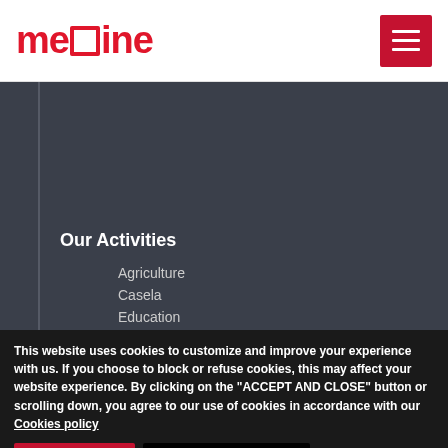[Figure (logo): Medine company logo in red text]
Our Activities
Agriculture
Casela
Education
Property
Sports & Hospitality
Shared services
This website uses cookies to customize and improve your experience with us. If you choose to block or refuse cookies, this may affect your website experience. By clicking on the "ACCEPT AND CLOSE" button or scrolling down, you agree to our use of cookies in accordance with our Cookies policy
Cookie settings | ACCEPT AND CLOSE
conditions | Privacy policy